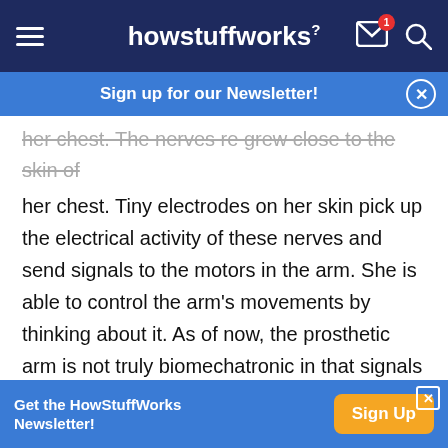howstuffworks
Sign up for our Newsletter!
her chest. The nerves re grew close to the skin of her chest. Tiny electrodes on her skin pick up the electrical activity of these nerves and send signals to the motors in the arm. She is able to control the arm's movements by thinking about it. As of now, the prosthetic arm is not truly biomechatronic in that signals only go one way, from Claudia to the arm. Dr. Kuiken is working on the next step of having the arm provide feedback to her, including sensations such as pain and pressure.
Get the HowStuffWorks Newsletter! Sign Up